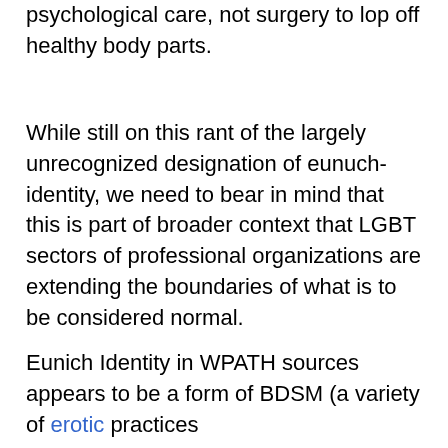psychological care, not surgery to lop off healthy body parts.
While still on this rant of the largely unrecognized designation of eunuch-identity, we need to bear in mind that this is part of broader context that LGBT sectors of professional organizations are extending the boundaries of what is to be considered normal.
Eunich Identity in WPATH sources appears to be a form of BDSM (a variety of erotic practices